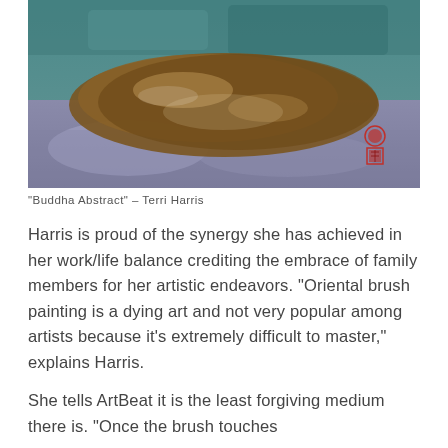[Figure (illustration): Painting titled 'Buddha Abstract' by Terri Harris. Shows an abstract brown form resembling a reclining Buddha figure against a teal and lavender/grey background. A small red seal/stamp is visible in the lower right of the painting.]
"Buddha Abstract" – Terri Harris
Harris is proud of the synergy she has achieved in her work/life balance crediting the embrace of family members for her artistic endeavors. "Oriental brush painting is a dying art and not very popular among artists because it's extremely difficult to master," explains Harris.
She tells ArtBeat it is the least forgiving medium there is. "Once the brush touches the...